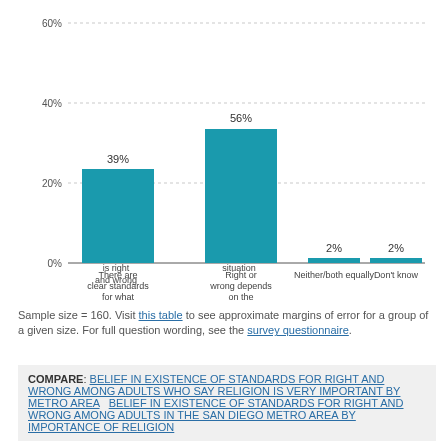[Figure (bar-chart): ]
Sample size = 160. Visit this table to see approximate margins of error for a group of a given size. For full question wording, see the survey questionnaire.
COMPARE: BELIEF IN EXISTENCE OF STANDARDS FOR RIGHT AND WRONG AMONG ADULTS WHO SAY RELIGION IS VERY IMPORTANT BY METRO AREA    BELIEF IN EXISTENCE OF STANDARDS FOR RIGHT AND WRONG AMONG ADULTS IN THE SAN DIEGO METRO AREA BY IMPORTANCE OF RELIGION